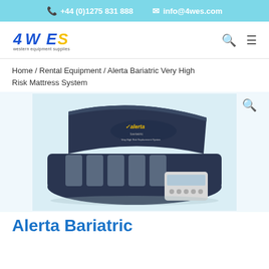+44 (0)1275 831 888   info@4wes.com
[Figure (logo): 4WES western equipment supplies logo — blue stylized '4WES' text with tagline 'western equipment supplies']
Home / Rental Equipment / Alerta Bariatric Very High Risk Mattress System
[Figure (photo): Alerta Bariatric mattress system product photo showing a dark navy folded mattress with foam inserts visible and a small electronic pump/control unit beside it, against a light blue background]
Alerta Bariatric